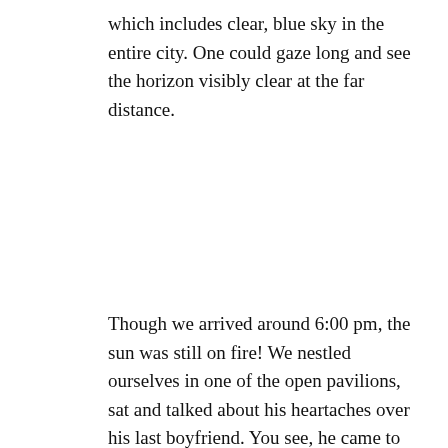which includes clear, blue sky in the entire city. One could gaze long and see the horizon visibly clear at the far distance.
Though we arrived around 6:00 pm, the sun was still on fire! We nestled ourselves in one of the open pavilions, sat and talked about his heartaches over his last boyfriend. You see, he came to Beijing to nurse a broken heart but I told him it's not